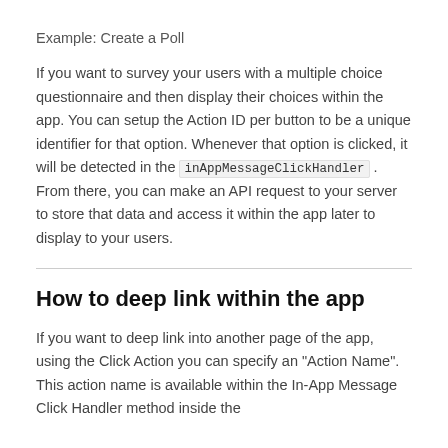Example: Create a Poll
If you want to survey your users with a multiple choice questionnaire and then display their choices within the app. You can setup the Action ID per button to be a unique identifier for that option. Whenever that option is clicked, it will be detected in the inAppMessageClickHandler . From there, you can make an API request to your server to store that data and access it within the app later to display to your users.
How to deep link within the app
If you want to deep link into another page of the app, using the Click Action you can specify an "Action Name". This action name is available within the In-App Message Click Handler method inside the